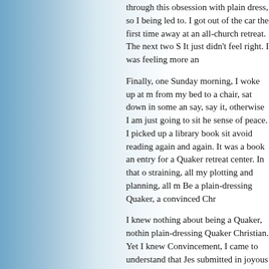through this obsession with plain dress, so I being led to. I got out of the car the first time away at an all-church retreat. The next two S It just didn't feel right. I was feeling more an
Finally, one Sunday morning, I woke up at m from my bed to a chair, sat down in some an say, say it, otherwise I am just going to sit he sense of peace. I picked up a library book sit avoid reading again and again. It was a book an entry for a Quaker retreat center. In that o straining, all my plotting and planning, all m Be a plain-dressing Quaker, a convinced Chr
I knew nothing about being a Quaker, nothin plain-dressing Quaker Christian. Yet I knew Convincement, I came to understand that Jes submitted in joyous obedience. I learned I w be loved. I had some plain dresses made and and bonnet out of the closet and on my head. observance, I attended a local unprogramme